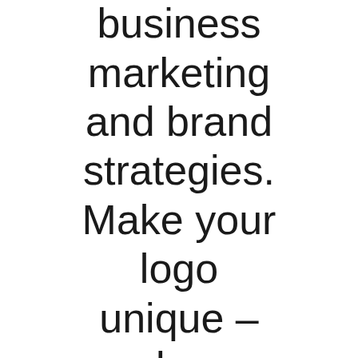your business marketing and brand strategies. Make your logo unique – be creative with it. Your goal is to have people recognize your logo. Put that extra time and do